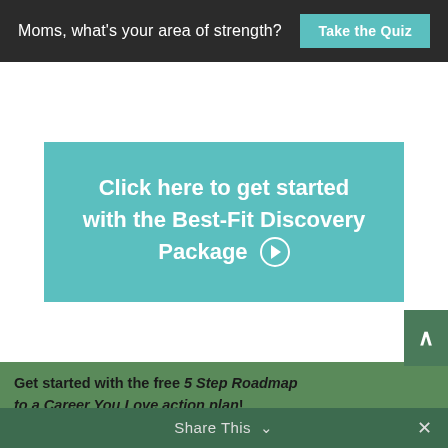Moms, what's your area of strength? Take the Quiz
Click here to get started with the Best-Fit Discovery Package ⊙
Get started with the free 5 Step Roadmap to a Career You Love action plan!
Share This